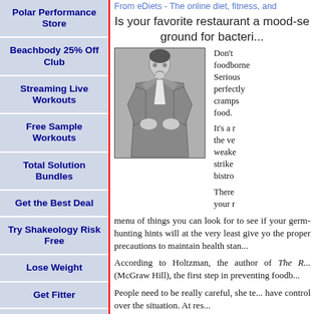Polar Performance Store
Beachbody 25% Off Club
Streaming Live Workouts
Free Sample Workouts
Total Solution Bundles
Get the Best Deal
Try Shakeology Risk Free
Lose Weight
Get Fitter
Start Your Own Home Fitness Business
From eDiets - The online diet, fitness, and
Is your favorite restaurant a mood-setting ground for bacteri...
[Figure (photo): Black and white photo of a man in a suit clutching his stomach in pain]
Don't foodborne Serious perfectly cramps food. It's a risk the very weakened strike bistro. There your menu of things you can look for to see if your germ-hunting hints will at the very least give you the proper precautions to maintain health stan...
According to Holtzman, the author of The R... (McGraw Hill), the first step in preventing foodb...
People need to be really careful, she te... have control over the situation. At res...